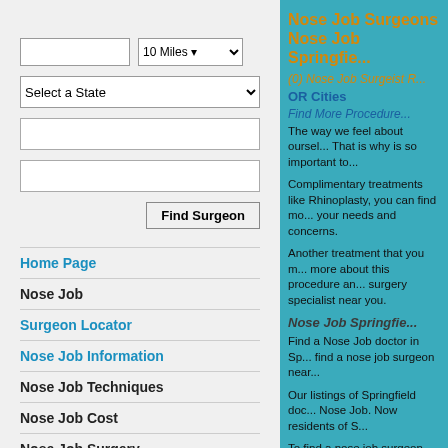Nose Job Surgeons Nose Job Springfield
(0) Nose Job Surgeon R...
OR Cities
Find More Procedure...
The way we feel about oursel... That is why is so important to...
Complimentary treatments like Rhinoplasty, you can find mo... your needs and concerns.
Another treatment that you m... more about this procedure an... surgery specialist near you.
Nose Job Springfield...
Find a Nose Job doctor in Sp... find a nose job surgeon near...
Our listings of Springfield doc... Nose Job. Now residents of S...
To find a nose job surgeon in... on Springfield. Once you sele... located in Springfield.
Home Page
Nose Job
Surgeon Locator
Nose Job Information
Nose Job Techniques
Nose Job Cost
Nose Job Surgery
Nose Job Nose